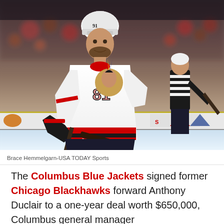[Figure (photo): Chicago Blackhawks player #81 in white jersey holding a hockey stick on the ice, with a referee visible in the background and blurred crowd in the arena.]
Brace Hemmelgarn-USA TODAY Sports
The Columbus Blue Jackets signed former Chicago Blackhawks forward Anthony Duclair to a one-year deal worth $650,000, Columbus general manager